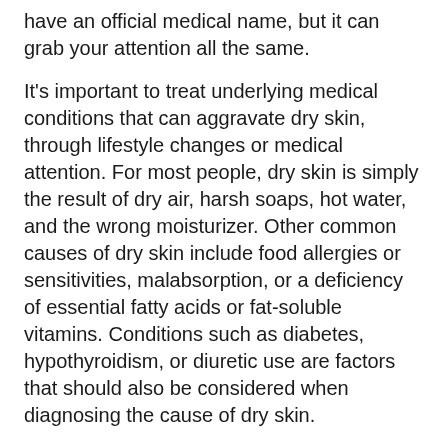have an official medical name, but it can grab your attention all the same.
It's important to treat underlying medical conditions that can aggravate dry skin, through lifestyle changes or medical attention. For most people, dry skin is simply the result of dry air, harsh soaps, hot water, and the wrong moisturizer. Other common causes of dry skin include food allergies or sensitivities, malabsorption, or a deficiency of essential fatty acids or fat-soluble vitamins. Conditions such as diabetes, hypothyroidism, or diuretic use are factors that should also be considered when diagnosing the cause of dry skin.
People with pre-existing skin problems such as eczema and psoriasis can also feel an aggravation of their skin condition during winter months. No matter what the cause of your dry and red winter skin, solutions are not difficult to find.
Healthy Steps: Winter Skin — First